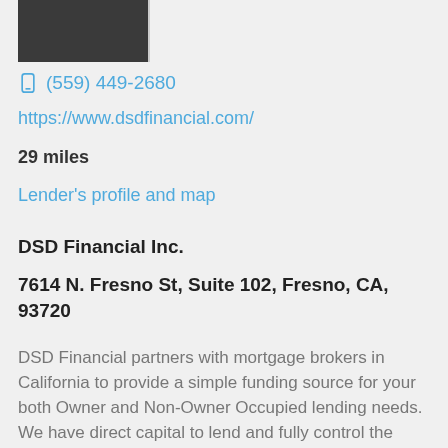[Figure (photo): Dark/black photo thumbnail in upper left corner]
☎ (559) 449-2680
https://www.dsdfinancial.com/
29 miles
Lender's profile and map
DSD Financial Inc.
7614 N. Fresno St, Suite 102, Fresno, CA, 93720
DSD Financial partners with mortgage brokers in California to provide a simple funding source for your both Owner and Non-Owner Occupied lending needs. We have direct capital to lend and fully control the lending process from start to finish to allow for quick